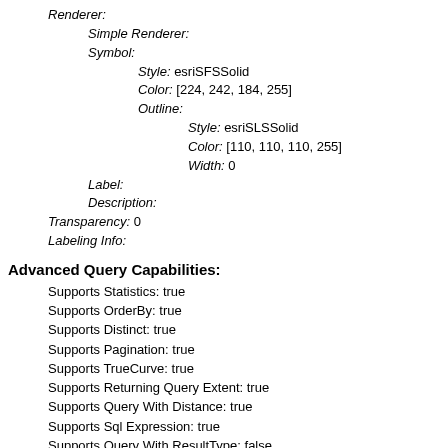Renderer:
Simple Renderer:
Symbol:
Style: esriSFSSolid
Color: [224, 242, 184, 255]
Outline:
Style: esriSLSSolid
Color: [110, 110, 110, 255]
Width: 0
Label:
Description:
Transparency: 0
Labeling Info:
Advanced Query Capabilities:
Supports Statistics: true
Supports OrderBy: true
Supports Distinct: true
Supports Pagination: true
Supports TrueCurve: true
Supports Returning Query Extent: true
Supports Query With Distance: true
Supports Sql Expression: true
Supports Query With ResultType: false
Supports Returning Geometry Centroid: false
Supports Binning LOD: false
Supports Query With LOD Spatial Reference: false